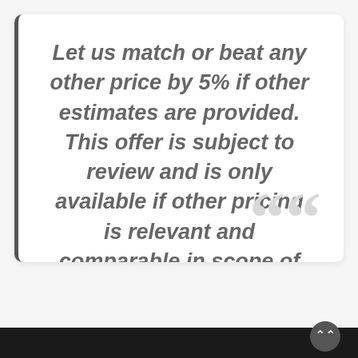Let us match or beat any other price by 5% if other estimates are provided. This offer is subject to review and is only available if other pricing is relevant and comparable in scope of work.